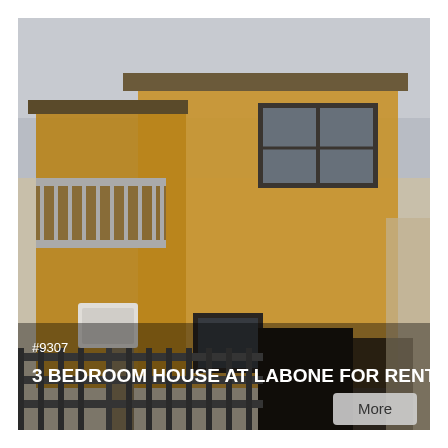[Figure (photo): Exterior photo of a two-storey yellow residential house with black metal gate and fence in the foreground, a balcony with metal railings on the upper left, large dark-framed windows, a satellite dish, and an air conditioning unit. Sky is hazy/overcast. Taken at dusk or in dim light giving warm yellow tone.]
#9307
3 BEDROOM HOUSE AT LABONE FOR RENT
More